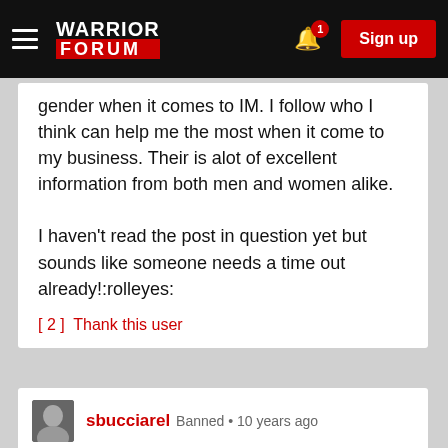Warrior Forum — Sign up
gender when it comes to IM. I follow who I think can help me the most when it come to my business. Their is alot of excellent information from both men and women alike.

I haven't read the post in question yet but sounds like someone needs a time out already!:rolleyes:
[ 2 ]  Thank this user
sbucciarel  Banned • 10 years ago